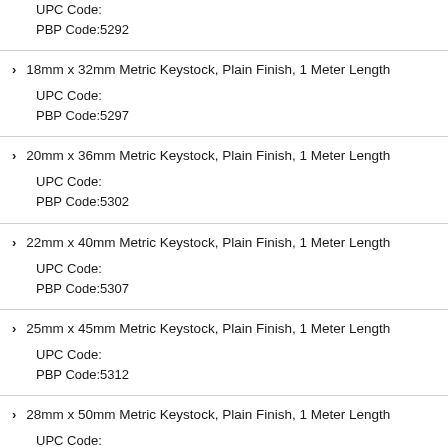UPC Code:
PBP Code:5292
18mm x 32mm Metric Keystock, Plain Finish, 1 Meter Length
UPC Code:
PBP Code:5297
20mm x 36mm Metric Keystock, Plain Finish, 1 Meter Length
UPC Code:
PBP Code:5302
22mm x 40mm Metric Keystock, Plain Finish, 1 Meter Length
UPC Code:
PBP Code:5307
25mm x 45mm Metric Keystock, Plain Finish, 1 Meter Length
UPC Code:
PBP Code:5312
28mm x 50mm Metric Keystock, Plain Finish, 1 Meter Length
UPC Code: